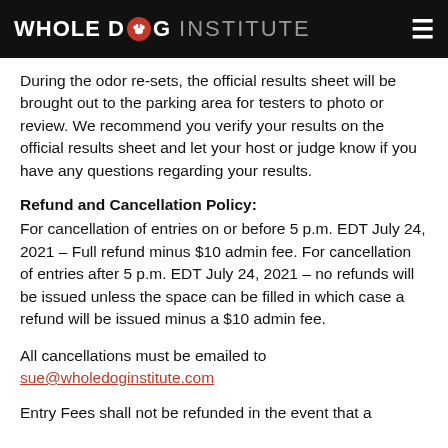WHOLE DOG INSTITUTE
During the odor re-sets, the official results sheet will be brought out to the parking area for testers to photo or review. We recommend you verify your results on the official results sheet and let your host or judge know if you have any questions regarding your results.
Refund and Cancellation Policy:
For cancellation of entries on or before 5 p.m. EDT July 24, 2021 – Full refund minus $10 admin fee. For cancellation of entries after 5 p.m. EDT July 24, 2021 – no refunds will be issued unless the space can be filled in which case a refund will be issued minus a $10 admin fee.
All cancellations must be emailed to sue@wholedoginstitute.com
Entry Fees shall not be refunded in the event that a